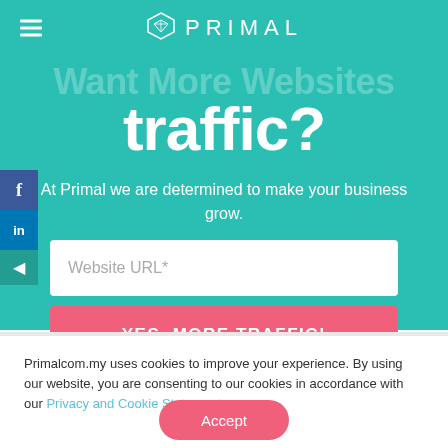PRIMAL
traffic?
At Primal we are determined to make your business grow.
Website URL*
YES, MORE TRAFFIC!
Primalcom.my uses cookies to improve your experience. By using our website, you are consenting to our cookies in accordance with our Privacy and Cookie Statement.
Accept